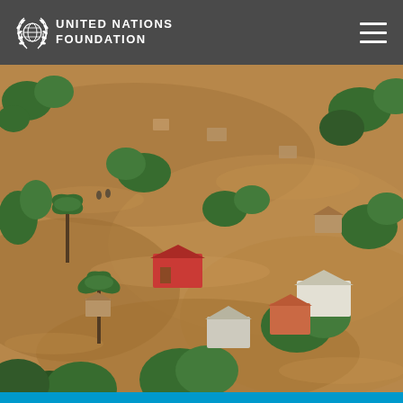United Nations Foundation
[Figure (photo): Aerial view of a flooded village with submerged buildings, trees, and mud-brown floodwater covering the landscape, likely in a tropical region after a cyclone or severe storm.]